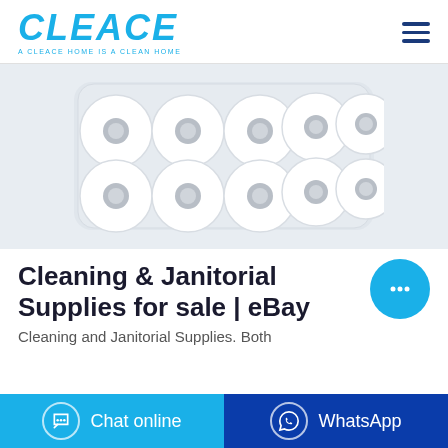CLEACE — A CLEACE HOME IS A CLEAN HOME
[Figure (photo): A pack of 10 white toilet paper rolls arranged in two rows of 5, wrapped in clear plastic packaging, on a light gray background.]
Cleaning & Janitorial Supplies for sale | eBay
Cleaning and Janitorial Supplies. Both
Chat online
WhatsApp